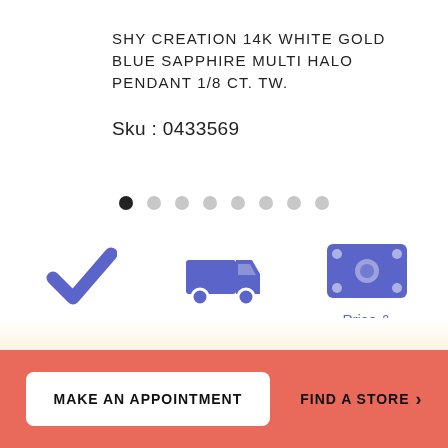SHY CREATION 14K WHITE GOLD BLUE SAPPHIRE MULTI HALO PENDANT 1/8 CT. TW.
Sku : 0433569
[Figure (infographic): Pagination dots: 8 dots, first one active (black), rest grey]
[Figure (infographic): Three icons in a row: checkmark (Warranty Details), delivery truck (Shipping & Returns), banknote (Price & Availability)]
Warranty Details
Shipping & Returns
Price & Availability
MAKE AN APPOINTMENT
FIND A STORE >